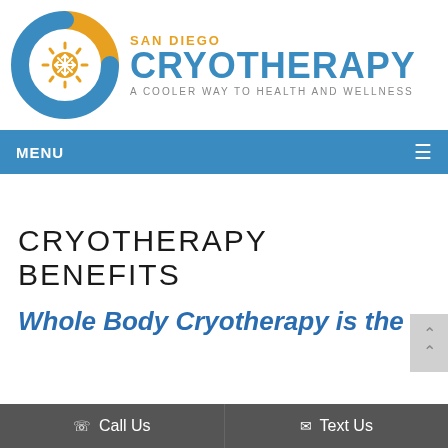[Figure (logo): San Diego Cryotherapy logo with circular orange and blue design, sun/snowflake icon in center, text 'SAN DIEGO CRYOTHERAPY A COOLER WAY TO HEALTH AND WELLNESS']
MENU
CRYOTHERAPY BENEFITS
Whole Body Cryotherapy is the
Call Us   Text Us